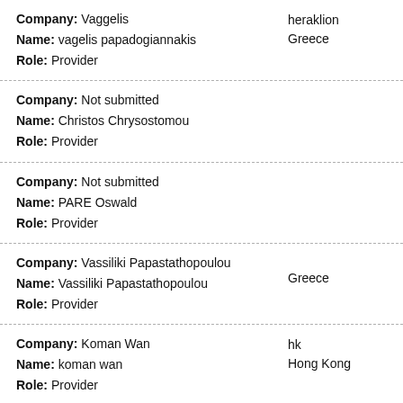Company: Vaggelis | Name: vagelis papadogiannakis | Role: Provider | heraklion, Greece
Company: Not submitted | Name: Christos Chrysostomou | Role: Provider
Company: Not submitted | Name: PARE Oswald | Role: Provider
Company: Vassiliki Papastathopoulou | Name: Vassiliki Papastathopoulou | Role: Provider | Greece
Company: Koman Wan | Name: koman wan | Role: Provider | hk, Hong Kong
Company: Kastamonitis IT Services | Name: Edouardos Kastamonitis | Role: Provider | Corfu, Greece
Company: Not submitted | Kirovohrad